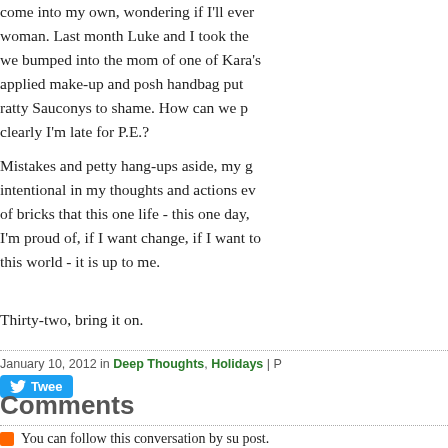come into my own, wondering if I'll ever woman. Last month Luke and I took the we bumped into the mom of one of Kara' applied make-up and posh handbag put ratty Sauconys to shame. How can we p clearly I'm late for P.E.?
Mistakes and petty hang-ups aside, my g intentional in my thoughts and actions ev of bricks that this one life - this one day, I'm proud of, if I want change, if I want to this world - it is up to me.
Thirty-two, bring it on.
January 10, 2012 in Deep Thoughts, Holidays | P
[Figure (screenshot): Twitter Tweet button (blue rounded rectangle with bird icon and 'Twee' text visible)]
Comments
You can follow this conversation by su post.